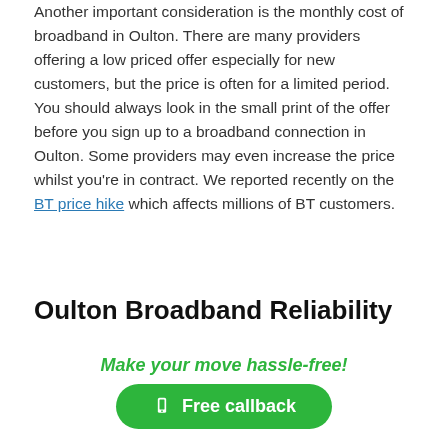Another important consideration is the monthly cost of broadband in Oulton. There are many providers offering a low priced offer especially for new customers, but the price is often for a limited period. You should always look in the small print of the offer before you sign up to a broadband connection in Oulton. Some providers may even increase the price whilst you're in contract. We reported recently on the BT price hike which affects millions of BT customers.
Oulton Broadband Reliability
How reliable the broadband is in Oulton also needs consideration, with many of us working from home full-time or just a few days per week, having a reliable internet connection to keep up to date with work your work can be
Make your move hassle-free!
Free callback